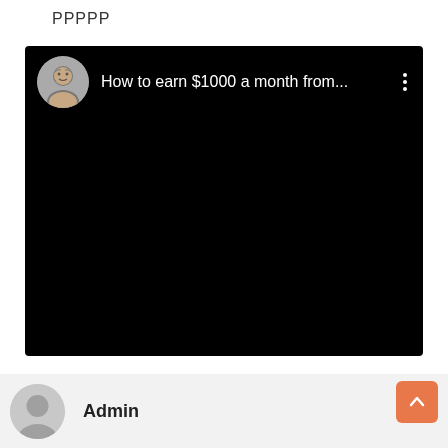PPPPP
[Figure (screenshot): A video player screenshot showing a dark/black video frame with a circular avatar of a middle-aged man and the title text 'How to earn $1000 a month from...' on a black background, with a three-dot menu icon on the right.]
Admin